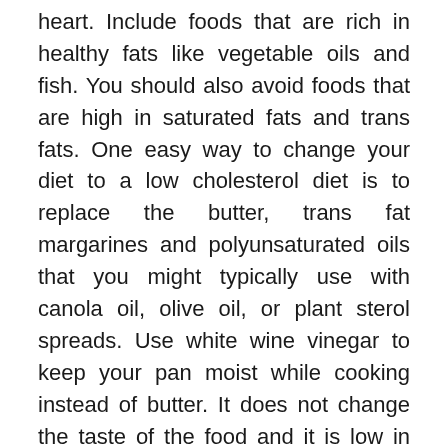heart. Include foods that are rich in healthy fats like vegetable oils and fish. You should also avoid foods that are high in saturated fats and trans fats. One easy way to change your diet to a low cholesterol diet is to replace the butter, trans fat margarines and polyunsaturated oils that you might typically use with canola oil, olive oil, or plant sterol spreads. Use white wine vinegar to keep your pan moist while cooking instead of butter. It does not change the taste of the food and it is low in cholesterol. You can also use a cholesterol-free egg substitute instead of whole eggs. As important as it is to change your diet to increase your health, it is equally as important to change your diet in the right way. Some people are looking to change their diet to lose weight but are not making changes in their diet in the right way. As all of us fat high cholesterol diet goes into